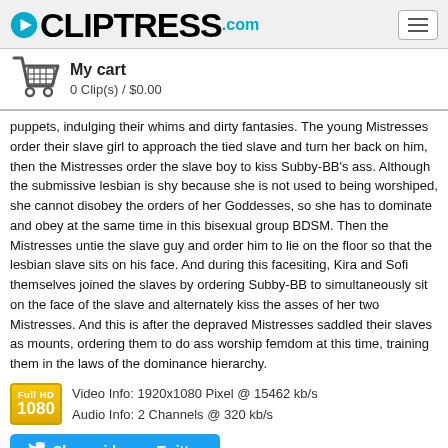CLIPTRESS.com
My cart
0 Clip(s) / $0.00
puppets, indulging their whims and dirty fantasies. The young Mistresses order their slave girl to approach the tied slave and turn her back on him, then the Mistresses order the slave boy to kiss Subby-BB's ass. Although the submissive lesbian is shy because she is not used to being worshiped, she cannot disobey the orders of her Goddesses, so she has to dominate and obey at the same time in this bisexual group BDSM. Then the Mistresses untie the slave guy and order him to lie on the floor so that the lesbian slave sits on his face. And during this facesiting, Kira and Sofi themselves joined the slaves by ordering Subby-BB to simultaneously sit on the face of the slave and alternately kiss the asses of her two Mistresses. And this is after the depraved Mistresses saddled their slaves as mounts, ordering them to do ass worship femdom at this time, training them in the laws of the dominance hierarchy.
Video Info: 1920x1080 Pixel @ 15462 kb/s
Audio Info: 2 Channels @ 320 kb/s
Share video on Twitter